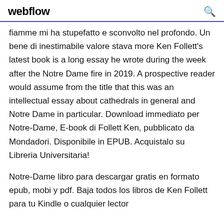webflow
fiamme mi ha stupefatto e sconvolto nel profondo. Un bene di inestimabile valore stava more Ken Follett's latest book is a long essay he wrote during the week after the Notre Dame fire in 2019. A prospective reader would assume from the title that this was an intellectual essay about cathedrals in general and Notre Dame in particular. Download immediato per Notre-Dame, E-book di Follett Ken, pubblicato da Mondadori. Disponibile in EPUB. Acquistalo su Libreria Universitaria!
Notre-Dame libro para descargar gratis en formato epub, mobi y pdf. Baja todos los libros de Ken Follett para tu Kindle o cualquier lector